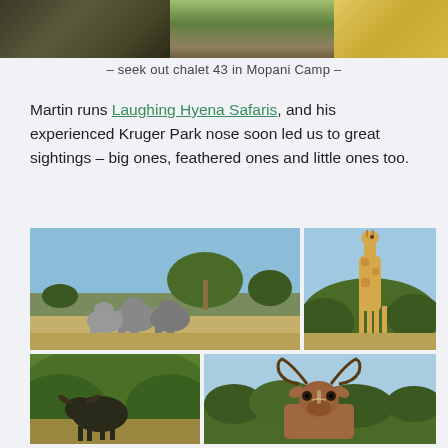[Figure (photo): Strip of travel/nature photos at top of page showing wildlife and landscape scenes]
– seek out chalet 43 in Mopani Camp –
Martin runs Laughing Hyena Safaris, and his experienced Kruger Park nose soon led us to great sightings – big ones, feathered ones and little ones too.
[Figure (photo): Wide landscape photo showing elephants walking across savanna with trees and blue sky]
[Figure (photo): Portrait photo of a giraffe standing among green bushes against blue sky]
[Figure (photo): Photo of buffalo partially hidden in dense green bush]
[Figure (photo): Close-up photo of kudu antelope head with large spiral horns against sky and treeline]